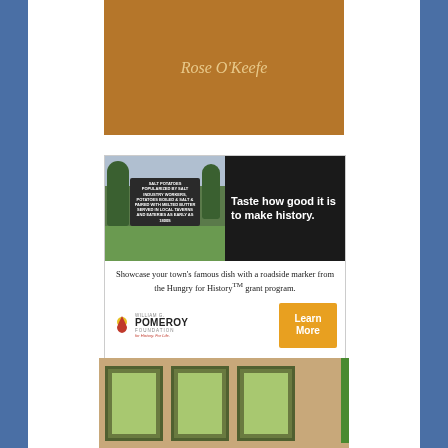[Figure (illustration): Book cover with brown/tan background showing author name Rose O'Keefe in italic gold text]
[Figure (infographic): Advertisement for William G. Pomeroy Foundation Hungry for History grant program. Top half shows a photo of a Salt Potatoes roadside historical marker next to trees on the left, and bold white text on black background reading 'Taste how good it is to make history.' on the right. Bottom half on white background reads 'Showcase your town's famous dish with a roadside marker from the Hungry for History TM grant program.' with the Pomeroy Foundation logo and an orange 'Learn More' button.]
[Figure (photo): Partial photo showing interior room with three windows with green/wooden frames against a tan/beige wall, with a vertical green stripe visible on the right edge]